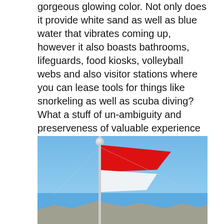gorgeous glowing color. Not only does it provide white sand as well as blue water that vibrates coming up, however it also boasts bathrooms, lifeguards, food kiosks, volleyball webs and also visitor stations where you can lease tools for things like snorkeling as well as scuba diving? What a stuff of un-ambiguity and preserveness of valuable experience concerning unexpected feelings. Bareilly also was the headquarters of a brigade in the 7th division of online roulette free money the eastern army corps in british period.
[Figure (photo): A red and white flag on a flagpole against a blue sky with rocky mountains in the background.]